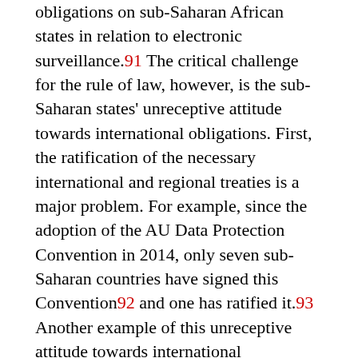obligations on sub-Saharan African states in relation to electronic surveillance.91 The critical challenge for the rule of law, however, is the sub-Saharan states' unreceptive attitude towards international obligations. First, the ratification of the necessary international and regional treaties is a major problem. For example, since the adoption of the AU Data Protection Convention in 2014, only seven sub-Saharan countries have signed this Convention92 and one has ratified it.93 Another example of this unreceptive attitude towards international obligations, and which borders directly on online surveillance, is South Africa's action in voting against the recent UN Resolution on the Promotion, Protection and Enjoyment of Human Rights on the Internet in July 2016.94 The efforts by some sub-Saharan African states to ratify the CoE's Data Protection Convention, which is the only international binding instrument of data protection, however, is noteworthy and commendable.95 Second, states